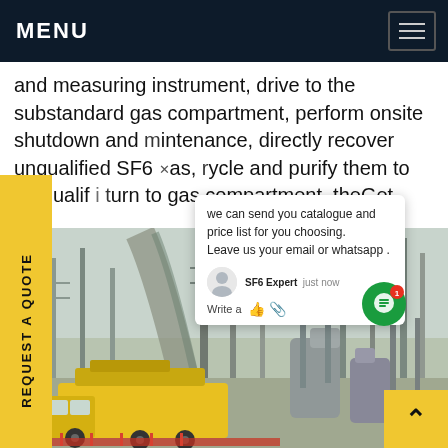MENU
and measuring instrument, drive to the substandard gas compartment, perform onsite shutdown and maintenance, directly recover unqualified SF6 gas, recycle and purify them to be qualified, then return to gas compartment, theGet
[Figure (photo): A yellow utility truck parked at an electrical substation with large SF6 gas equipment, high-voltage towers in the background]
we can send you catalogue and price list for you choosing.
Leave us your email or whatsapp .
SF6 Expert   just now
Write a